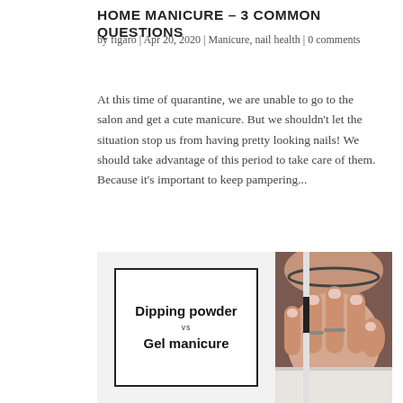HOME MANICURE – 3 COMMON QUESTIONS
by figaro | Apr 20, 2020 | Manicure, nail health | 0 comments
At this time of quarantine, we are unable to go to the salon and get a cute manicure. But we shouldn't let the situation stop us from having pretty looking nails! We should take advantage of this period to take care of them. Because it's important to keep pampering...
[Figure (photo): Split image: left side shows a white card with black border displaying text 'Dipping powder vs Gel manicure'; right side shows a close-up photo of a hand with manicured nails resting on a white towel, wearing rings.]
FIGARO LONDON'S NAIL TECHNICIANS SHARE THEIR EXPERIENCE